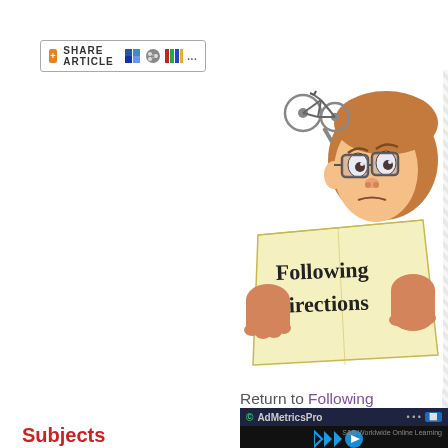[Figure (other): Share Article button/bar with orange icon, bookmark and other social share icons]
[Figure (illustration): Cartoon illustration of a person wearing glasses reading a map/paper that says 'Following Directions']
Return to Following
[Figure (screenshot): AdMetricsPro ad overlay showing S&S Worldwide Online Learning video with play controls]
Subjects
Arts & Humanities: Language
Mathematics